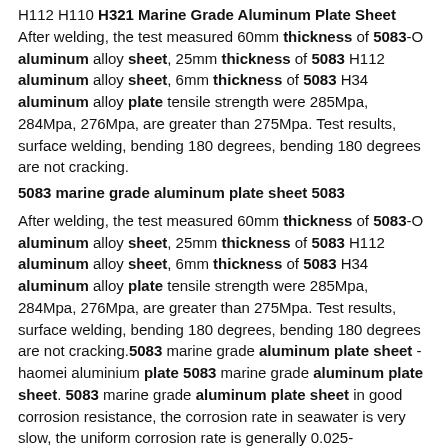H112 H110 H321 Marine Grade Aluminum Plate Sheet After welding, the test measured 60mm thickness of 5083-O aluminum alloy sheet, 25mm thickness of 5083 H112 aluminum alloy sheet, 6mm thickness of 5083 H34 aluminum alloy plate tensile strength were 285Mpa, 284Mpa, 276Mpa, are greater than 275Mpa. Test results, surface welding, bending 180 degrees, bending 180 degrees are not cracking.
5083 marine grade aluminum plate sheet 5083
After welding, the test measured 60mm thickness of 5083-O aluminum alloy sheet, 25mm thickness of 5083 H112 aluminum alloy sheet, 6mm thickness of 5083 H34 aluminum alloy plate tensile strength were 285Mpa, 284Mpa, 276Mpa, are greater than 275Mpa. Test results, surface welding, bending 180 degrees, bending 180 degrees are not cracking.5083 marine grade aluminum plate sheet -haomei aluminium plate 5083 marine grade aluminum plate sheet. 5083 marine grade aluminum plate sheet in good corrosion resistance, the corrosion rate in seawater is very slow, the uniform corrosion rate is generally 0.025-0.05mm/years, can resist the corrosion of seawater and marine atmosphere on the ship, reduce oil and maintenance cost, long service life.Aluminium Alloys 5083 H111 Sheet Plate, Aluminum UNS Leading manufacturer, suppliers of Aluminium 5083 Sheet, Aluminium Alloy 5083 Plate, Aluminum 5083 H111 Coils, 5083